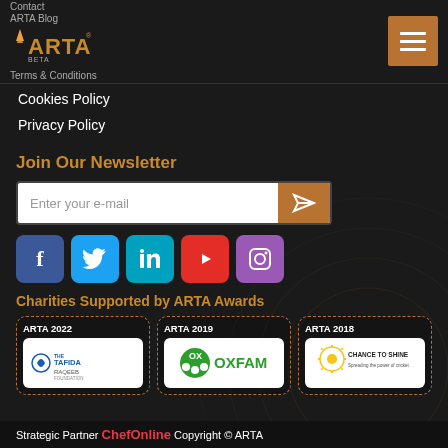Contact | ARTA Blog | Terms & Conditions
[Figure (logo): ARTA Awards golden trophy logo with flame, text ARTA in gold]
Cookies Policy
Privacy Policy
Join Our Newsletter
Enter your e-mail
[Figure (infographic): Social media icons: Facebook (blue), Twitter (light blue), LinkedIn (teal), YouTube (red), Instagram (purple)]
Charities Supported by ARTA Awards
[Figure (infographic): Three charity cards: ARTA 2022 - Tafida Raqeeb logo, ARTA 2019 - Oxfam logo, ARTA 2018 - Chance to Shine logo]
Strategic Partner ChefOnline Copyright © ARTA